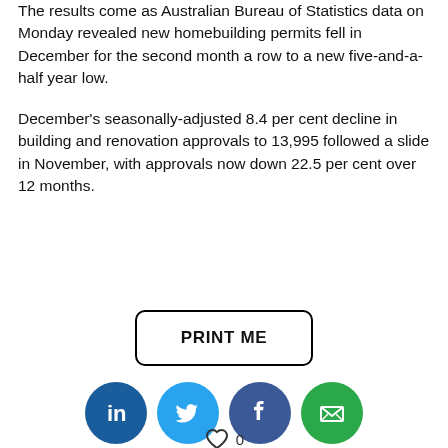The results come as Australian Bureau of Statistics data on Monday revealed new homebuilding permits fell in December for the second month a row to a new five-and-a-half year low.
December's seasonally-adjusted 8.4 per cent decline in building and renovation approvals to 13,995 followed a slide in November, with approvals now down 22.5 per cent over 12 months.
[Figure (other): PRINT ME button and social share icons (LinkedIn, Twitter, Facebook, Email) with Share This label and a like/heart icon with count 0]